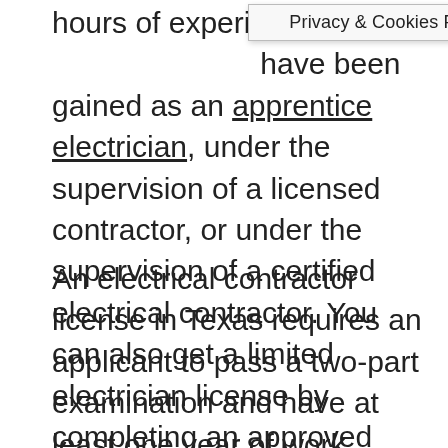hours of experience. have been gained as an apprentice electrician, under the supervision of a licensed contractor, or under the supervision of a certified electrical contractor. You can also get a limited electrician license by completing an approved apprenticeship program and having at least three years of experience. In order to apply, you must also pass a trade exam and have General Liability insurance.
Privacy & Cookies Policy
An electrical contractor license in Texas requires an applicant to pass a two-part examination and have at least one year of work experience. You must also have a General Liability insurance policy and proof of an apprenticeship program. Obtaining a journeyman electrician license is a much easier process and usually requires no more than 4,000 hours of experience. You can become a licensed